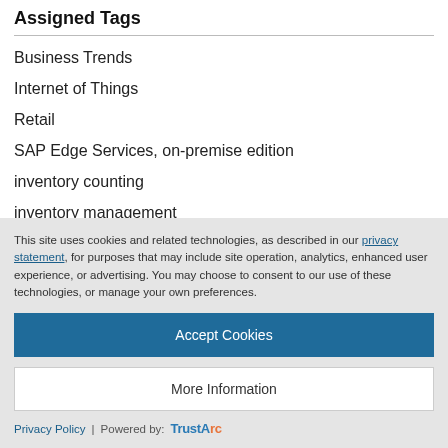Assigned Tags
Business Trends
Internet of Things
Retail
SAP Edge Services, on-premise edition
inventory counting
inventory management
This site uses cookies and related technologies, as described in our privacy statement, for purposes that may include site operation, analytics, enhanced user experience, or advertising. You may choose to consent to our use of these technologies, or manage your own preferences.
Accept Cookies
More Information
Privacy Policy | Powered by: TrustArc